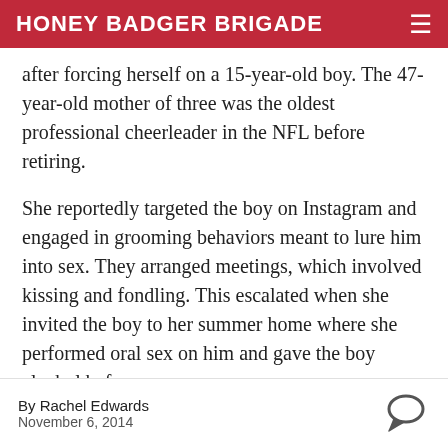HONEY BADGER BRIGADE
after forcing herself on a 15-year-old boy. The 47-year-old mother of three was the oldest professional cheerleader in the NFL before retiring.
She reportedly targeted the boy on Instagram and engaged in grooming behaviors meant to lure him into sex. They arranged meetings, which involved kissing and fondling. This escalated when she invited the boy to her summer home where she performed oral sex on him and gave the boy alcohol before forcing herself on him again.
By Rachel Edwards
November 6, 2014